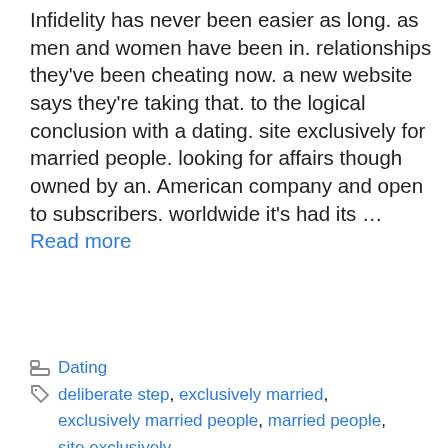Infidelity has never been easier as long. as men and women have been in. relationships they've been cheating now. a new website says they're taking that. to the logical conclusion with a dating. site exclusively for married people. looking for affairs though owned by an. American company and open to subscribers. worldwide it's had its … Read more
Dating
deliberate step, exclusively married, exclusively married people, married people, site exclusively
Leave a comment